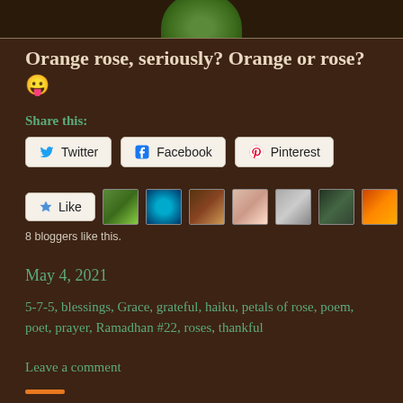[Figure (photo): Green leaves plant photo at the top of the page]
Orange rose, seriously? Orange or rose? 😛
Share this:
Twitter
Facebook
Pinterest
8 bloggers like this.
May 4, 2021
5-7-5, blessings, Grace, grateful, haiku, petals of rose, poem, poet, prayer, Ramadhan #22, roses, thankful
Leave a comment